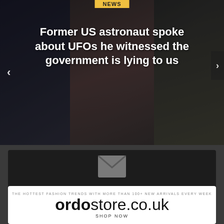[Figure (screenshot): News website hero slider showing article about former US astronaut and UFOs with dark background imagery]
Former US astronaut spoke about UFOs he witnessed the government is lying to us
[Figure (infographic): Subscribe ORDO Google News banner with envelope icon on dark background]
[Figure (infographic): ordostore.co.uk advertisement banner: THE HOTTEST FASHION TRENDS WITH MORE THAN 100+ NEW ARRIVALS EVERY WEEK - SHOP NOW]